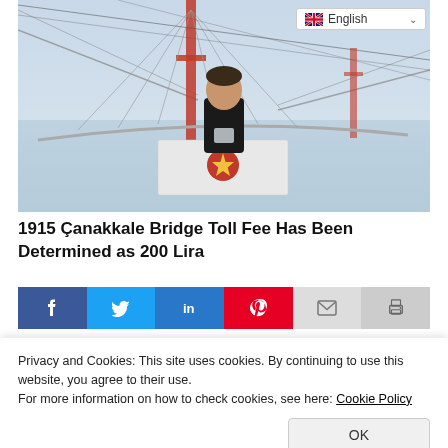[Figure (photo): A man in a dark jacket standing at a podium with a red presidential seal, in front of a large suspension bridge with red towers and cables against a hazy sky.]
1915 Çanakkale Bridge Toll Fee Has Been Determined as 200 Lira
[Figure (infographic): Social media share buttons: Facebook, Twitter, LinkedIn, Pinterest, Email, Print]
Privacy and Cookies: This site uses cookies. By continuing to use this website, you agree to their use.
For more information on how to check cookies, see here: Cookie Policy